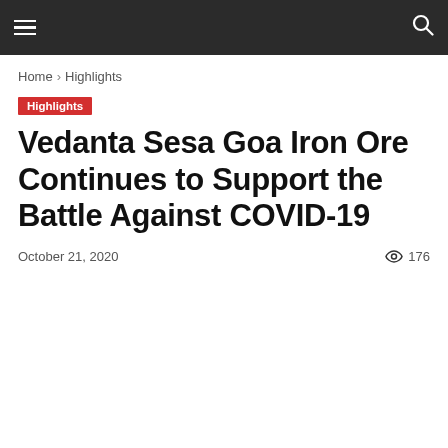≡  🔍
Home › Highlights
Highlights
Vedanta Sesa Goa Iron Ore Continues to Support the Battle Against COVID-19
October 21, 2020   👁 176